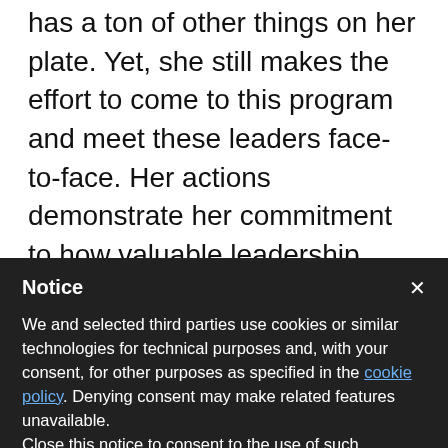has a ton of other things on her plate.  Yet, she still makes the effort to come to this program and meet these leaders face-to-face.  Her actions demonstrate her commitment to how valuable leadership development is to her.After sharing some high-level business updates, Sarah went into a freewheeling Q & A session with the participants.   In the Q & A time, Sarah shared this insight:
Notice
We and selected third parties use cookies or similar technologies for technical purposes and, with your consent, for other purposes as specified in the cookie policy. Denying consent may make related features unavailable.
Close this notice to consent to the use of such technologies.